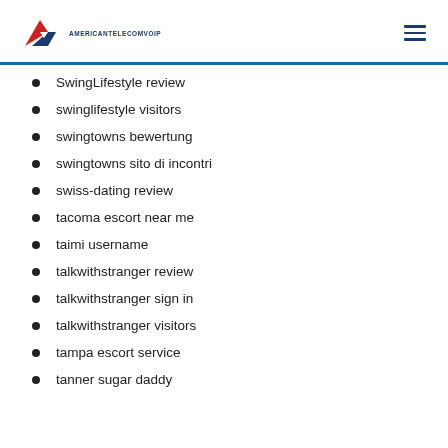AMERICANTELECOMVOIP
SwingLifestyle review
swinglifestyle visitors
swingtowns bewertung
swingtowns sito di incontri
swiss-dating review
tacoma escort near me
taimi username
talkwithstranger review
talkwithstranger sign in
talkwithstranger visitors
tampa escort service
tanner sugar daddy